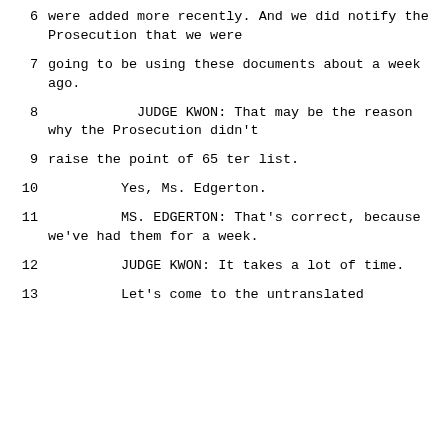6     were added more recently.  And we did notify the Prosecution that we were
7     going to be using these documents about a week ago.
8                   JUDGE KWON:  That may be the reason why the Prosecution didn't
9     raise the point of 65 ter list.
10              Yes, Ms. Edgerton.
11              MS. EDGERTON:  That's correct, because we've had them for a week.
12              JUDGE KWON:  It takes a lot of time.
13              Let's come to the untranslated